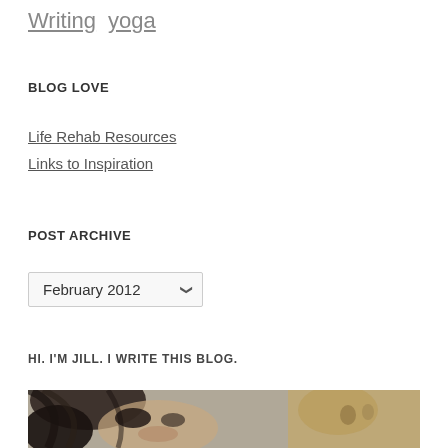Writing  yoga
BLOG LOVE
Life Rehab Resources
Links to Inspiration
POST ARCHIVE
February 2012
HI. I'M JILL. I WRITE THIS BLOG.
[Figure (photo): A photo of Jill, a woman with dark hair, partially visible alongside an animal (possibly a cat or giraffe), cropped at the bottom of the page.]